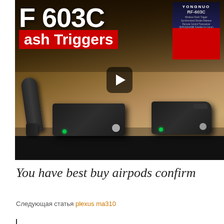[Figure (screenshot): Video thumbnail showing Yongnuo RF-603C wireless flash triggers on a wooden surface with product packaging in background. Large white text 'RF 603C' and red banner 'ash Triggers' overlaid. Play button in center.]
You have best buy airpods confirm
Следующая статья plexus ma310